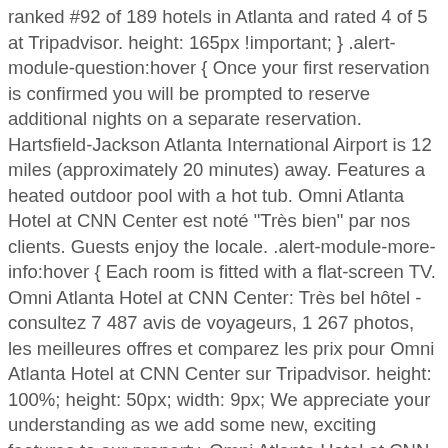ranked #92 of 189 hotels in Atlanta and rated 4 of 5 at Tripadvisor. height: 165px !important; } .alert-module-question:hover { Once your first reservation is confirmed you will be prompted to reserve additional nights on a separate reservation. Hartsfield-Jackson Atlanta International Airport is 12 miles (approximately 20 minutes) away. Features a heated outdoor pool with a hot tub. Omni Atlanta Hotel at CNN Center est noté "Très bien" par nos clients. Guests enjoy the locale. .alert-module-more-info:hover { Each room is fitted with a flat-screen TV. Omni Atlanta Hotel at CNN Center: Très bel hôtel - consultez 7 487 avis de voyageurs, 1 267 photos, les meilleures offres et comparez les prix pour Omni Atlanta Hotel at CNN Center sur Tripadvisor. height: 100%; height: 50px; width: 9px; We appreciate your understanding as we add some new, exciting features to our property. Omni Atlanta Hotel at CNN Center has announced the completion of a $12 million renovation to the hotel's public spaces and dining outlets which includes the ... margin-left: 0; The newly opened Omni property is a luxurious